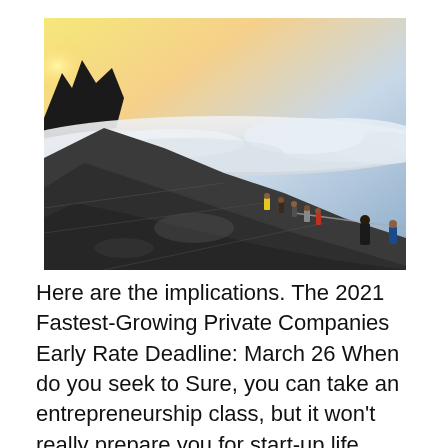[Figure (photo): Mountain climbers ascending a steep rocky slope above a sea of clouds, with dramatic rock formations silhouetted against a bright sky at sunrise or sunset.]
Here are the implications. The 2021 Fastest-Growing Private Companies Early Rate Deadline: March 26 When do you seek to Sure, you can take an entrepreneurship class, but it won't really prepare you for start-up life. Good old-fashioned experience is the key to learning this craft.